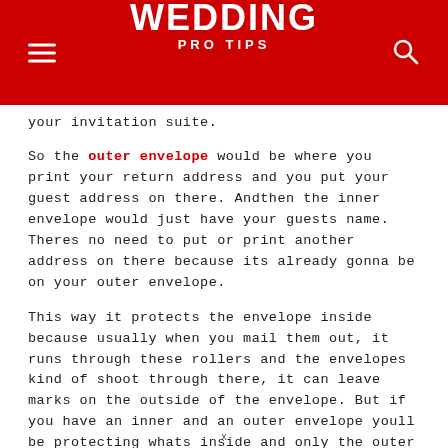WEDDING PRO TIPS
your invitation suite.
So the outer envelope would be where you print your return address and you put your guest address on there. And then the inner envelope would just have your guests name. Theres no need to put or print another address on there because its already gonna be on your outer envelope.
This way it protects the envelope inside because usually when you mail them out, it runs through these rollers and the envelopes kind of shoot through there, it can leave marks on the outside of the envelope. But if you have an inner and an outer envelope youll be protecting whats inside and only the outer envelope will get dirty. So thats a very popular option